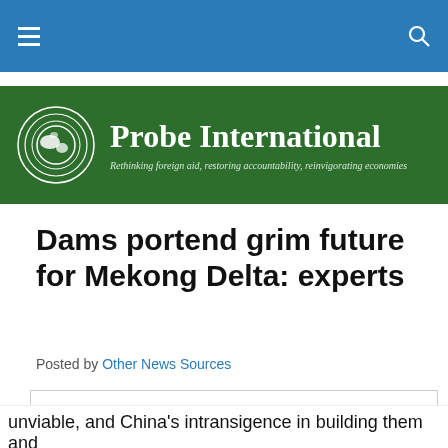Navigation bar with menu and search icons
[Figure (logo): Probe International logo banner with globe icon and tagline: Rethinking foreign aid, restoring accountability, reinvigorating economies]
Dams portend grim future for Mekong Delta: experts
Posted by Other News Sources
Privacy & Cookies: This site uses cookies. By continuing to use this website, you agree to their use. To find out more, including how to control cookies, see here: Cookie Policy
unviable, and China's intransigence in building them and